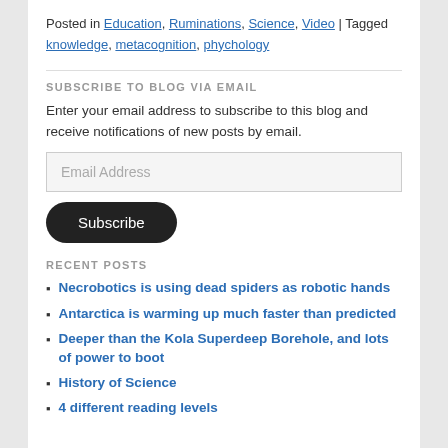Posted in Education, Ruminations, Science, Video | Tagged knowledge, metacognition, phychology
SUBSCRIBE TO BLOG VIA EMAIL
Enter your email address to subscribe to this blog and receive notifications of new posts by email.
Email Address
Subscribe
RECENT POSTS
Necrobotics is using dead spiders as robotic hands
Antarctica is warming up much faster than predicted
Deeper than the Kola Superdeep Borehole, and lots of power to boot
History of Science
4 different reading levels